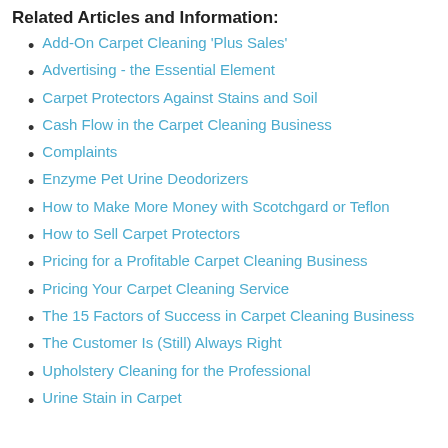Related Articles and Information:
Add-On Carpet Cleaning ‘Plus Sales’
Advertising - the Essential Element
Carpet Protectors Against Stains and Soil
Cash Flow in the Carpet Cleaning Business
Complaints
Enzyme Pet Urine Deodorizers
How to Make More Money with Scotchgard or Teflon
How to Sell Carpet Protectors
Pricing for a Profitable Carpet Cleaning Business
Pricing Your Carpet Cleaning Service
The 15 Factors of Success in Carpet Cleaning Business
The Customer Is (Still) Always Right
Upholstery Cleaning for the Professional
Urine Stain in Carpet